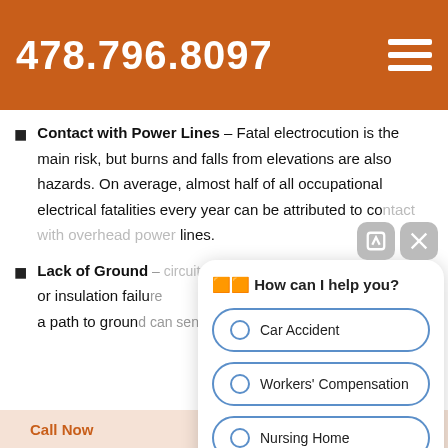478.796.8097
Contact with Power Lines – Fatal electrocution is the main risk, but burns and falls from elevations are also hazards. On average, almost half of all occupational electrical fatalities every year can be attributed to contact with overhead power lines.
Lack of Ground – [partial, obscured by popup] circuit, or insulation failure [obscured] to create a path to ground can send current through a [continues]
[Figure (screenshot): Chat widget popup with header 'How can I help you?' and three radio button options: Car Accident, Workers' Compensation, Nursing Home. Two icon buttons (edit/resize and close) appear above the popup.]
Call Now   Text Us